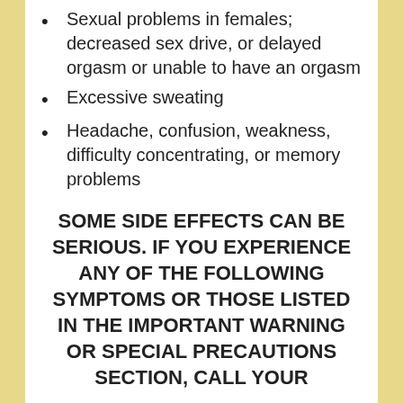Sexual problems in females; decreased sex drive, or delayed orgasm or unable to have an orgasm
Excessive sweating
Headache, confusion, weakness, difficulty concentrating, or memory problems
SOME SIDE EFFECTS CAN BE SERIOUS. IF YOU EXPERIENCE ANY OF THE FOLLOWING SYMPTOMS OR THOSE LISTED IN THE IMPORTANT WARNING OR SPECIAL PRECAUTIONS SECTION, CALL YOUR